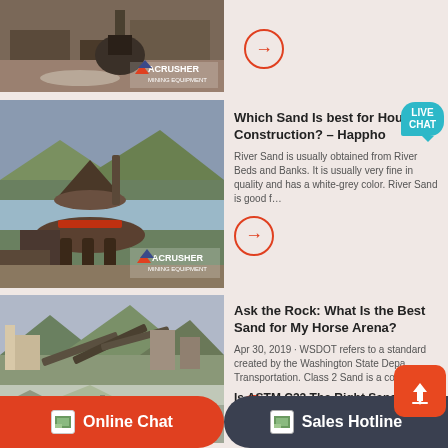[Figure (photo): Industrial mining crusher equipment with ACRUSHER logo, partial top row]
[Figure (photo): Stone crusher machinery at river location with ACRUSHER MINING EQUIPMENT logo]
Which Sand Is best for House Construction? – Happho
River Sand is usually obtained from River Beds and Banks. It is usually very fine in quality and has a white-grey color. River Sand is good f…
[Figure (photo): Large mining/quarry facility with mountains in background, ACRUSHER MINING EQUIPMENT logo]
Ask the Rock: What Is the Best Sand for My Horse Arena?
Apr 30, 2019 · WSDOT refers to a standard created by the Washington State Depa… Transportation. Class 2 Sand is a coa…
[Figure (photo): Partial quarry/construction site photo]
Is ASTM C33 The Right Sand for My Project?
Online Chat   Sales Hotline